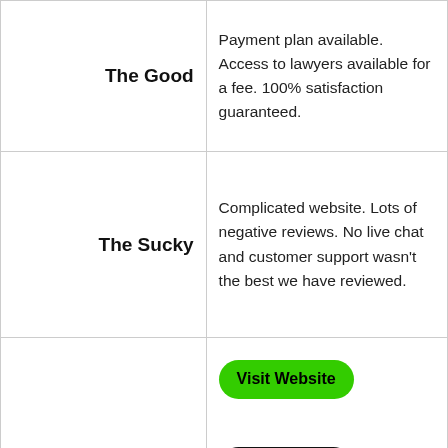| The Good | Payment plan available. Access to lawyers available for a fee. 100% satisfaction guaranteed. |
| The Sucky | Complicated website. Lots of negative reviews. No live chat and customer support wasn't the best we have reviewed. |
|  | Visit Website
Read Review |
5th